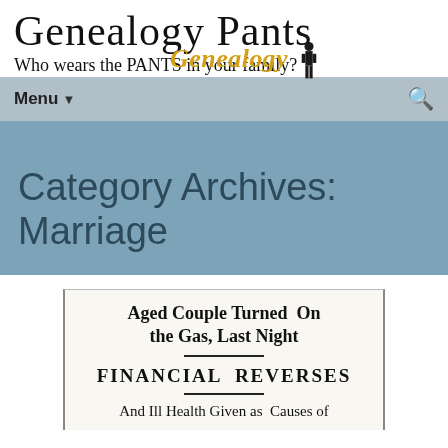Genealogy Pants
Who wears the PANTS in your family?
Menu ▼
Category Archives:
Marriage
[Figure (photo): Newspaper clipping with headline: Aged Couple Turned On the Gas, Last Night / FINANCIAL REVERSES / And Ill Health Given as Causes of]
Aged Couple Turned On the Gas, Last Night
FINANCIAL REVERSES
And Ill Health Given as Causes of